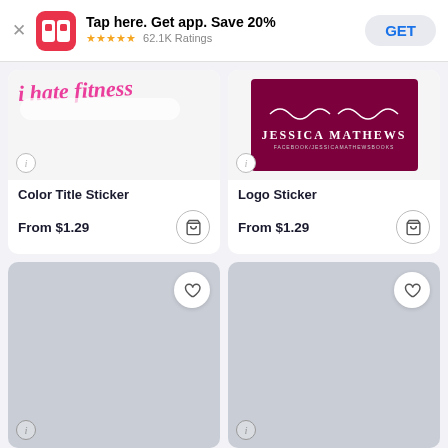Tap here. Get app. Save 20% ★★★★★ 62.1K Ratings GET
[Figure (screenshot): Color Title Sticker product card showing pink cursive text sticker partially visible]
[Figure (screenshot): Logo Sticker product card showing Jessica Mathews dark red logo sticker]
Color Title Sticker
Logo Sticker
From $1.29
From $1.29
[Figure (screenshot): Loading/blank product card with heart button, gray placeholder]
[Figure (screenshot): Loading/blank product card with heart button, gray placeholder]